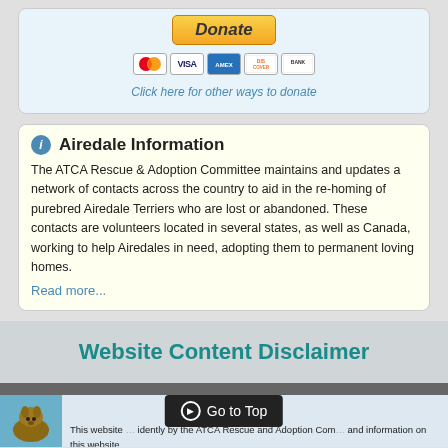[Figure (other): Donate button with PayPal styling and credit card icons (Mastercard, Visa, Amex, Discover, Bank)]
Click here for other ways to donate
Airedale Information
The ATCA Rescue & Adoption Committee maintains and updates a network of contacts across the country to aid in the re-homing of purebred Airedale Terriers who are lost or abandoned. These contacts are volunteers located in several states, as well as Canada, working to help Airedales in need, adopting them to permanent loving homes.
Read more...
Website Content Disclaimer
Go to Top
This website ... idently by the ATCA Rescue and Adoption Com... and information on this website